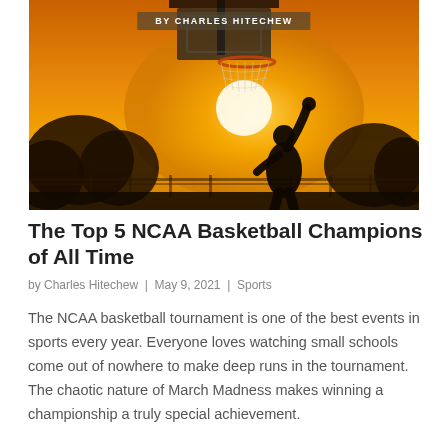[Figure (photo): Basketball hoop silhouette against an orange sunset sky, with a person shooting a basketball in the foreground. Trees and a fence visible in the background.]
BY CHARLES HITECHEW
The Top 5 NCAA Basketball Champions of All Time
by Charles Hitechew | May 9, 2021 | Sports
The NCAA basketball tournament is one of the best events in sports every year. Everyone loves watching small schools come out of nowhere to make deep runs in the tournament. The chaotic nature of March Madness makes winning a championship a truly special achievement.